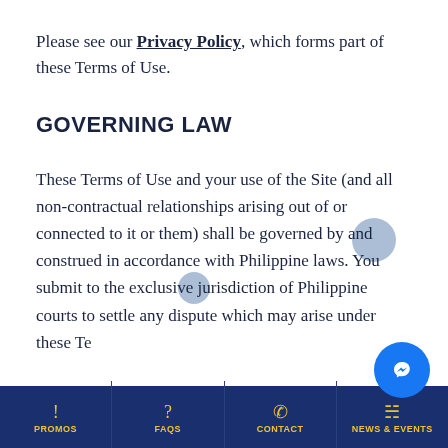Please see our Privacy Policy, which forms part of these Terms of Use.
GOVERNING LAW
These Terms of Use and your use of the Site (and all non-contractual relationships arising out of or connected to it or them) shall be governed by and construed in accordance with Philippine laws. You submit to the exclusive jurisdiction of Philippine courts to settle any dispute which may arise under these Te...
PROMOS | FAQS | CONTACT | NEWS & EVENTS